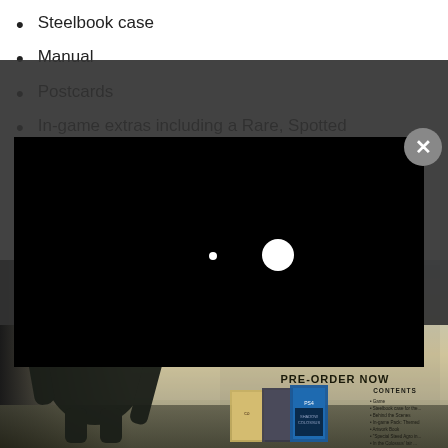Steelbook case
Manual
Postcards
In-game extras including a Rare, Spotted Steed Agro skin
Two custom themes
Colossis Acatar Set
Colossis Stickers
Physical World Map
[Figure (screenshot): Video player modal overlay with black background and two white circles (play indicator dots), with a grey close/X button in top right corner]
[Figure (photo): Shadow of the Colossus Special Edition Box Set promotional banner showing a large dark creature/colossus figure on left, game title text in center reading SHADOW OF THE COLOSSUS SPECIAL EDITION BOX SET February 6th 2018 PRE-ORDER NOW, with box set contents shown on right including PS4 game case and book, with a CONTENTS list]